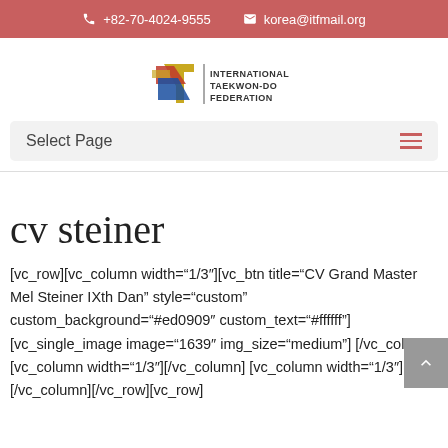+82-70-4024-9555   korea@itfmail.org
[Figure (logo): International Taekwon-Do Federation logo with stylized ITF letters in red, blue, yellow and black, with text INTERNATIONAL TAEKWON-DO FEDERATION]
Select Page
cv steiner
[vc_row][vc_column width="1/3"][vc_btn title="CV Grand Master Mel Steiner IXth Dan" style="custom" custom_background="#ed0909" custom_text="#ffffff"][vc_single_image image="1639" img_size="medium"][/vc_column][vc_column width="1/3"][/vc_column][vc_column width="1/3"][/vc_column][/vc_row][vc_row]